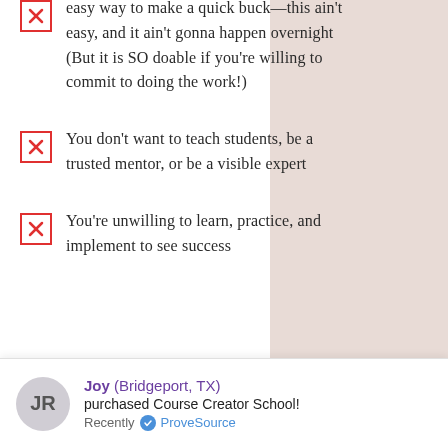easy way to make a quick buck—this ain't easy, and it ain't gonna happen overnight (But it is SO doable if you're willing to commit to doing the work!)
You don't want to teach students, be a trusted mentor, or be a visible expert
You're unwilling to learn, practice, and implement to see success
Joy (Bridgeport, TX) purchased Course Creator School! Recently · ProveSource